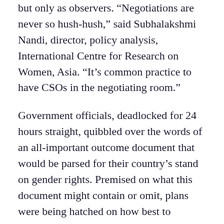but only as observers. 'Negotiations are never so hush-hush,' said Subhalakshmi Nandi, director, policy analysis, International Centre for Research on Women, Asia. 'It's common practice to have CSOs in the negotiating room.'
Government officials, deadlocked for 24 hours straight, quibbled over the words of an all-important outcome document that would be parsed for their country's stand on gender rights. Premised on what this document might contain or omit, plans were being hatched on how best to protest: singing, chanting, holding signs, or even a walkout.
The anxiety of 230 CSOs from 35 countries in the Asia-Pacific region had been palpable since their arrival in Bangkok on 24 November for three days of stock-taking.